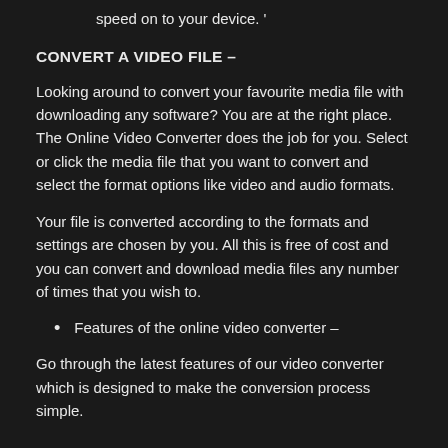speed on to your device. '
CONVERT A VIDEO FILE –
Looking around to convert your favourite media file with downloading any software? You are at the right place. The Online Video Converter does the job for you. Select or click the media file that you want to convert and select the format options like video and audio formats.
Your file is converted according to the formats and settings are chosen by you. All this is free of cost and you can convert and download media files any number of times that you wish to.
Features of the online video converter –
Go through the latest features of our video converter which is designed to make the conversion process simple.